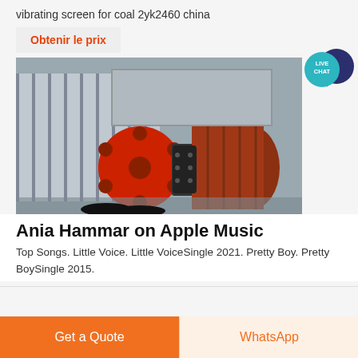vibrating screen for coal 2yk2460 china
Obtenir le prix
[Figure (photo): Industrial vibrating screen machine with red wheel/pulley, chain drive mechanism, and gray metal body, photographed in a factory setting.]
[Figure (other): Live Chat button icon — teal speech bubble with white text 'LIVE CHAT' and dark blue chat icon]
Ania Hammar on Apple Music
Top Songs. Little Voice. Little VoiceSingle 2021. Pretty Boy. Pretty BoySingle 2015.
Get a Quote
WhatsApp